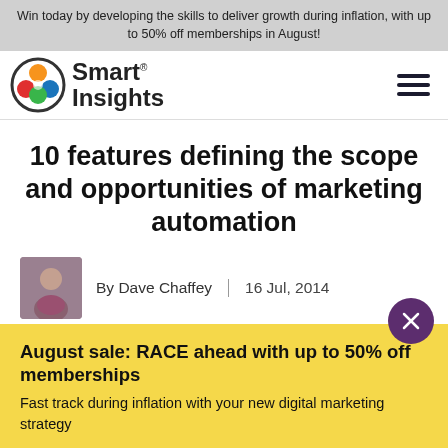Win today by developing the skills to deliver growth during inflation, with up to 50% off memberships in August!
[Figure (logo): Smart Insights logo with coloured circles and text]
10 features defining the scope and opportunities of marketing automation
By Dave Chaffey | 16 Jul, 2014
August sale: RACE ahead with up to 50% off memberships
Fast track during inflation with your new digital marketing strategy